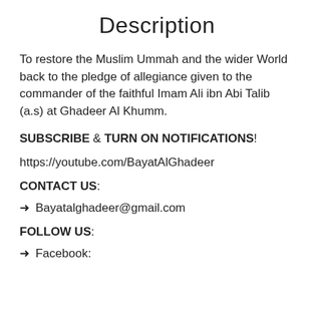Description
To restore the Muslim Ummah and the wider World back to the pledge of allegiance given to the commander of the faithful Imam Ali ibn Abi Talib (a.s) at Ghadeer Al Khumm.
SUBSCRIBE & TURN ON NOTIFICATIONS!
https://youtube.com/BayatAlGhadeer
CONTACT US:
➜ Bayatalghadeer@gmail.com
FOLLOW US:
➜ Facebook: